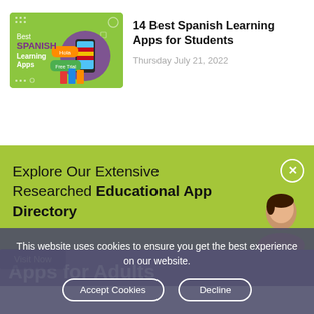[Figure (illustration): Green background thumbnail with text 'Best SPANISH Learning Apps' and decorative mobile/books icons]
14 Best Spanish Learning Apps for Students
Thursday July 21, 2022
Explore Our Extensive Researched Educational App Directory
This website uses cookies to ensure you get the best experience on our website.
Accept Cookies
Decline